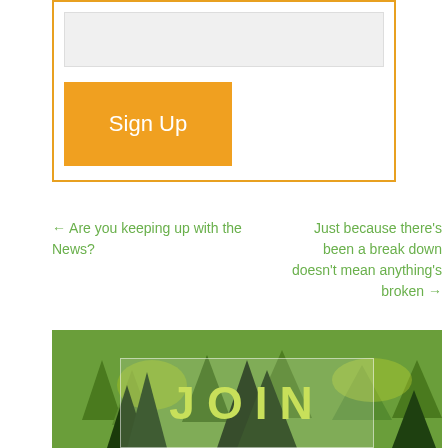[Figure (screenshot): Sign Up form box with orange border, light gray input field, and orange Sign Up button]
← Are you keeping up with the News?
Just because there's been a break down doesn't mean anything's broken →
[Figure (photo): Forest/nature banner image with green trees and yellow-green overlay text reading JOIN]